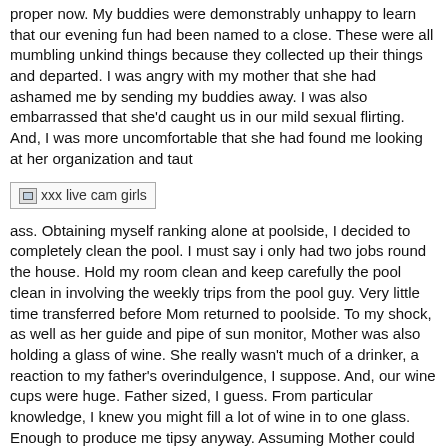proper now. My buddies were demonstrably unhappy to learn that our evening fun had been named to a close. These were all mumbling unkind things because they collected up their things and departed. I was angry with my mother that she had ashamed me by sending my buddies away. I was also embarrassed that she'd caught us in our mild sexual flirting. And, I was more uncomfortable that she had found me looking at her organization and taut
[Figure (other): Broken image placeholder with alt text 'xxx live cam girls']
ass. Obtaining myself ranking alone at poolside, I decided to completely clean the pool. I must say i only had two jobs round the house. Hold my room clean and keep carefully the pool clean in involving the weekly trips from the pool guy. Very little time transferred before Mom returned to poolside. To my shock, as well as her guide and pipe of sun monitor, Mother was also holding a glass of wine. She really wasn't much of a drinker, a reaction to my father's overindulgence, I suppose. And, our wine cups were huge. Father sized, I guess. From particular knowledge, I knew you might fill a lot of wine in to one glass. Enough to produce me tipsy anyway. Assuming Mother could still be upset with me, I used myself to cleaning the share really energetically. Of course, I stole